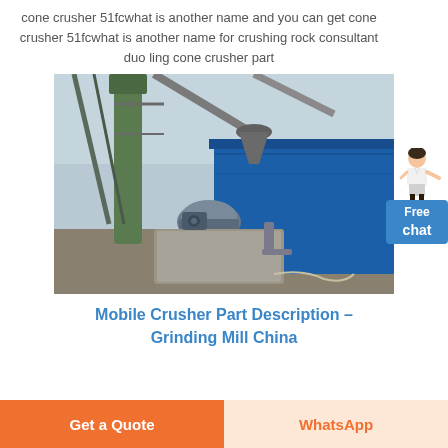cone crusher 51fcwhat is another name and you can get cone crusher 51fcwhat is another name for crushing rock consultant duo ling cone crusher part
[Figure (photo): Industrial cone crusher and blue metal enclosure structure at a mining or quarrying facility, with an electric motor and piping visible in the foreground.]
Mobile Crusher Part Description – Grinding Mill China
Get a Quote
WhatsApp